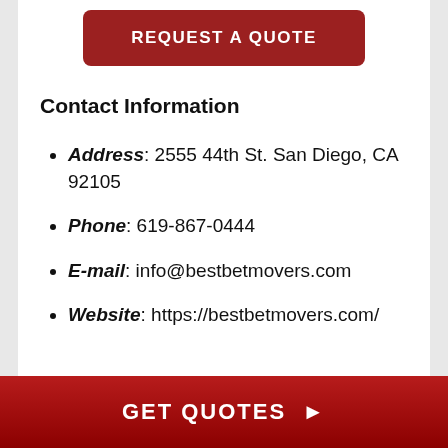REQUEST A QUOTE
Contact Information
Address: 2555 44th St. San Diego, CA 92105
Phone: 619-867-0444
E-mail: info@bestbetmovers.com
Website: https://bestbetmovers.com/
GET QUOTES ▶